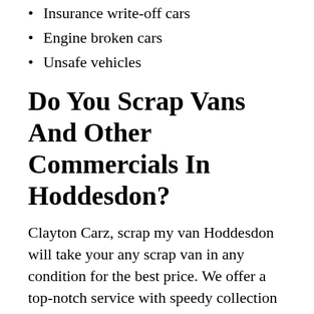Insurance write-off cars
Engine broken cars
Unsafe vehicles
Do You Scrap Vans And Other Commercials In Hoddesdon?
Clayton Carz, scrap my van Hoddesdon will take your any scrap van in any condition for the best price. We offer a top-notch service with speedy collection and best prices paid.
Enter your van details into our online quote and we can give you an offer with free collection and cash paid on collection.